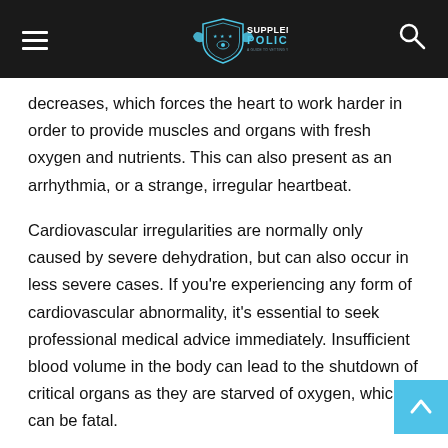Supplement Police
decreases, which forces the heart to work harder in order to provide muscles and organs with fresh oxygen and nutrients. This can also present as an arrhythmia, or a strange, irregular heartbeat.
Cardiovascular irregularities are normally only caused by severe dehydration, but can also occur in less severe cases. If you're experiencing any form of cardiovascular abnormality, it's essential to seek professional medical advice immediately. Insufficient blood volume in the body can lead to the shutdown of critical organs as they are starved of oxygen, which can be fatal.
Always consult a medical professional if experiencing any concerning symptoms in your heart. Increased water intake,